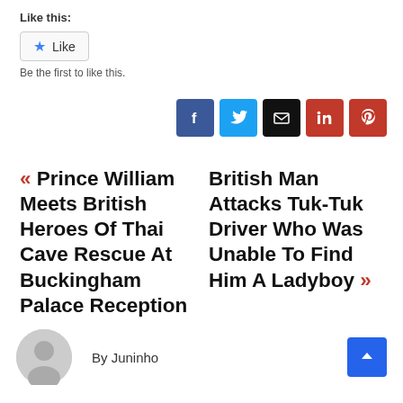Like this:
Like
Be the first to like this.
[Figure (infographic): Five social share icon buttons: Facebook (blue), Twitter (light blue), Email (black), LinkedIn (red), Pinterest (red)]
« Prince William Meets British Heroes Of Thai Cave Rescue At Buckingham Palace Reception
British Man Attacks Tuk-Tuk Driver Who Was Unable To Find Him A Ladyboy »
By Juninho